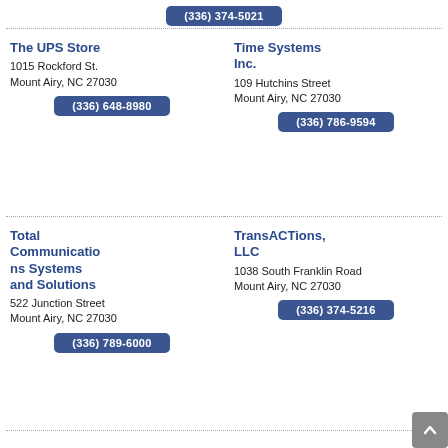(336) 374-5021
The UPS Store
1015 Rockford St.
Mount Airy, NC 27030
(336) 648-8980
Time Systems Inc.
109 Hutchins Street
Mount Airy, NC 27030
(336) 786-9594
Total Communications Systems and Solutions
522 Junction Street
Mount Airy, NC 27030
(336) 789-6000
TransACTions, LLC
1038 South Franklin Road
Mount Airy, NC 27030
(336) 374-5216